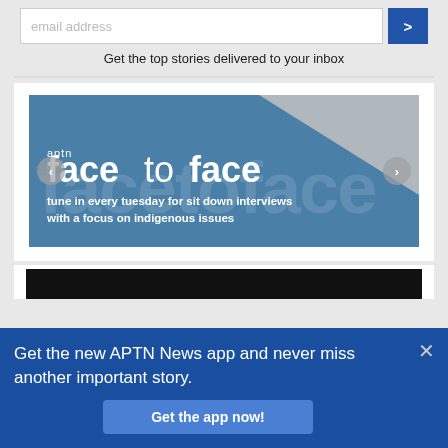email address
Get the top stories delivered to your inbox
[Figure (illustration): APTN Face to Face promotional banner. Blue background with diagonal grey section. Text reads: 'aptn facetoface - tune in every tuesday for sit down interviews with a focus on indigenous issues'. Left and right navigation arrows on sides.]
Get the new APTN News app and never miss another important story.
Get the app now!